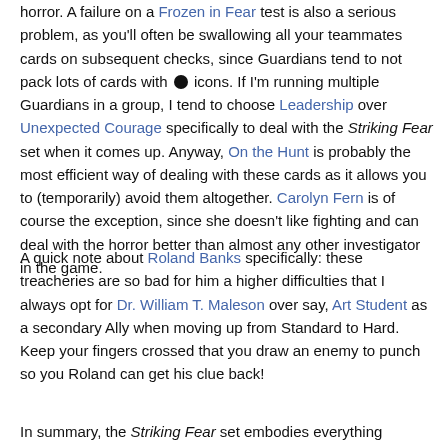horror. A failure on a Frozen in Fear test is also a serious problem, as you'll often be swallowing all your teammates cards on subsequent checks, since Guardians tend to not pack lots of cards with [bullet] icons. If I'm running multiple Guardians in a group, I tend to choose Leadership over Unexpected Courage specifically to deal with the Striking Fear set when it comes up. Anyway, On the Hunt is probably the most efficient way of dealing with these cards as it allows you to (temporarily) avoid them altogether. Carolyn Fern is of course the exception, since she doesn't like fighting and can deal with the horror better than almost any other investigator in the game.
A quick note about Roland Banks specifically: these treacheries are so bad for him a higher difficulties that I always opt for Dr. William T. Maleson over say, Art Student as a secondary Ally when moving up from Standard to Hard. Keep your fingers crossed that you draw an enemy to punch so you Roland can get his clue back!
In summary, the Striking Fear set embodies everything